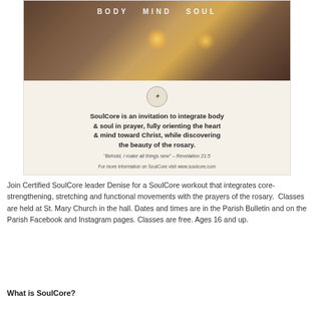[Figure (illustration): SoulCore promotional flyer with candlelight photo at top, circular logo, bold invitation quote about integrating body and soul in prayer with the rosary, scripture reference Revelation 21:5, and website URL www.soulcore.com. Light beige background.]
Join Certified SoulCore leader Denise for a SoulCore workout that integrates core-strengthening, stretching and functional movements with the prayers of the rosary.  Classes are held at St. Mary Church in the hall. Dates and times are in the Parish Bulletin and on the Parish Facebook and Instagram pages. Classes are free. Ages 16 and up.
What is SoulCore?